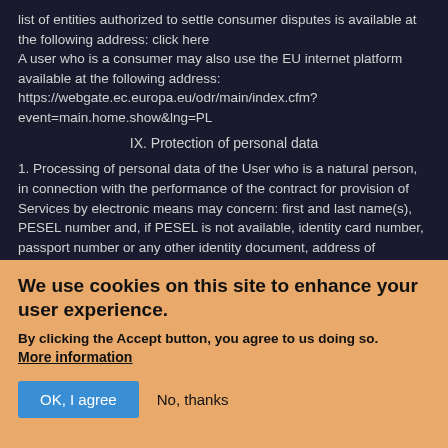list of entities authorized to settle consumer disputes is available at the following address: click here
A user who is a consumer may also use the EU internet platform available at the following address: https://webgate.ec.europa.eu/odr/main/index.cfm?event=main.home.show&lng=PL
IX. Protection of personal data
1. Processing of personal data of the User who is a natural person, in connection with the performance of the contract for provision of Services by electronic means may concern: first and last name(s), PESEL number and, if PESEL is not available, identity card number, passport number or any other identity document, address of residence and e-mail
We use cookies on this site to enhance your user experience.
By clicking the Accept button, you agree to us doing so. More information
OK, I agree   No, thanks